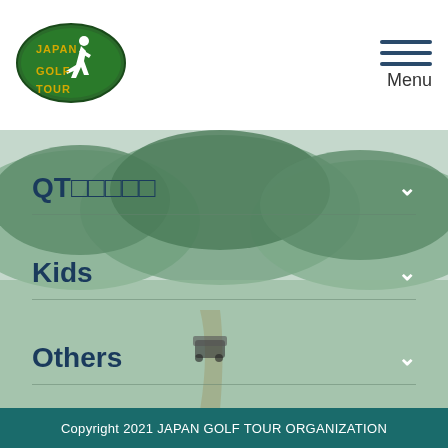[Figure (logo): Japan Golf Tour logo — dark green oval with white golfer silhouette and gold text]
Menu
QT□□□□□
Kids
Others
[Figure (illustration): Social media icons: Instagram (pink outline), Twitter (blue bird), Facebook (blue circle with F), YouTube (red rectangle with play button)]
□□□□□□□□□□□□□□□□□□□□□□□□□□□□□□□□□□□□□□□□□□□□□□□□□□□□□□□□□□□□□□□□□□□□□□□□□□□□□□□□□□□□□□□□□□□□□□□□□□□□□□□□□□□□□□□□□□□□□□□□□□□□□□□□□□□□□□□□□□□□□□□□□□□□□□□□□□□□□□□□□□□□□□□□□□□□□□□□□□□□□□□□□□□□□□□□□□□□□□□□□□□□□□□□□□□□□□□□□□□□□□□□□□□□□□□□□□□□□□□□□□□□□□□□□□□□□□□□
Copyright 2021 JAPAN GOLF TOUR ORGANIZATION